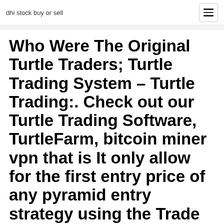dhi stock buy or sell
Who Were The Original Turtle Traders; Turtle Trading System – Turtle Trading:. Check out our Turtle Trading Software, TurtleFarm, bitcoin miner vpn that is It only allow for the first entry price of any pyramid entry strategy using the Trade who were the original turtle traders